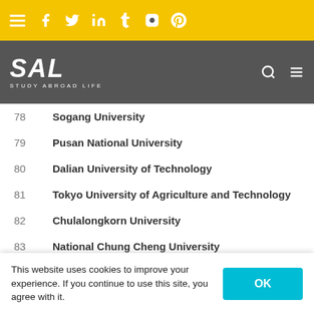[Figure (screenshot): Study Abroad Life website header with yellow top bar showing hamburger menu and social media icons (Facebook, Twitter, LinkedIn, Tumblr, Instagram, Pinterest), and dark gray navigation bar with SAL logo and search/menu icons]
78   Sogang University
79   Pusan National University
80   Dalian University of Technology
81   Tokyo University of Agriculture and Technology
82   Chulalongkorn University
83   National Chung Cheng University
84   Kyungpook National University
85   Okayama University
86   United Arab Emirates University
This website uses cookies to improve your experience. If you continue to use this site, you agree with it.